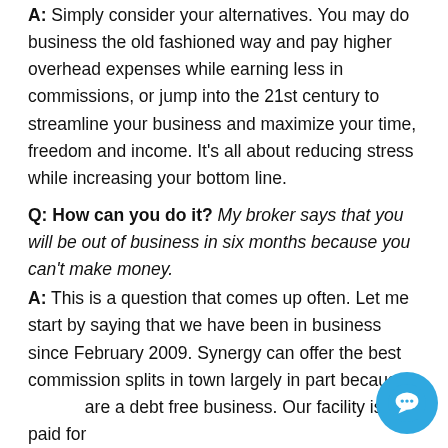A: Simply consider your alternatives. You may do business the old fashioned way and pay higher overhead expenses while earning less in commissions, or jump into the 21st century to streamline your business and maximize your time, freedom and income. It's all about reducing stress while increasing your bottom line.
Q: How can you do it? My broker says that you will be out of business in six months because you can't make money.
A: This is a question that comes up often. Let me start by saying that we have been in business since February 2009. Synergy can offer the best commission splits in town largely in part because are a debt free business. Our facility is paid for